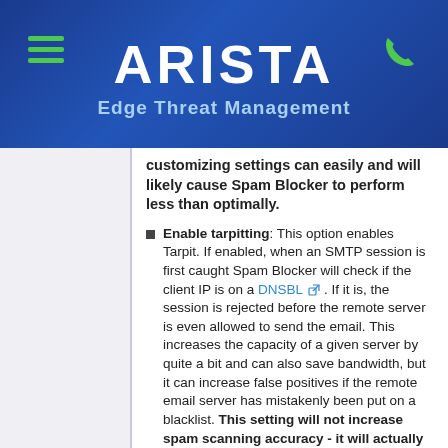[Figure (logo): Arista Edge Threat Management header with menu icon (green hamburger), ARISTA text in white, Edge Threat Management subtitle in light blue, and phone icon in green]
customizing settings can easily and will likely cause Spam Blocker to perform less than optimally.
Enable tarpitting: This option enables Tarpit. If enabled, when an SMTP session is first caught Spam Blocker will check if the client IP is on a DNSBL. If it is, the session is rejected before the remote server is even allowed to send the email. This increases the capacity of a given server by quite a bit and can also save bandwidth, but it can increase false positives if the remote email server has mistakenly been put on a blacklist. This setting will not increase spam scanning accuracy - it will actually decrease it as it will prevent valuable super-spam training data